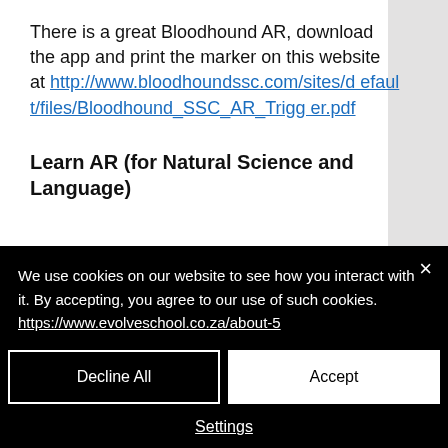There is a great Bloodhound AR, download the app and print the marker on this website at http://www.bloodhoundssc.com/sites/default/files/Bloodhound_SSC_AR_Trigger.pdf
Learn AR (for Natural Science and Language)
We use cookies on our website to see how you interact with it. By accepting, you agree to our use of such cookies. https://www.evolveschool.co.za/about-5
Decline All
Accept
Settings